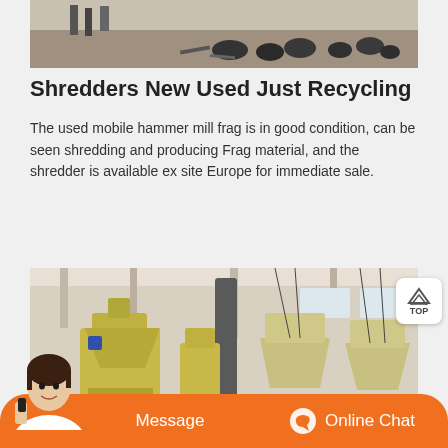[Figure (photo): Top portion of an outdoor industrial/yard scene with machinery parts, tires and equipment scattered on the ground]
Shredders New Used Just Recycling
The used mobile hammer mill frag is in good condition, can be seen shredding and producing Frag material, and the shredder is available ex site Europe for immediate sale.
[Figure (photo): Interior of an industrial factory/workshop with large yellow industrial grinding/milling machines, pipes, and ventilation ducts]
[Figure (photo): Chat agent person photo and orange chat bar at bottom with Message and Online Chat buttons]